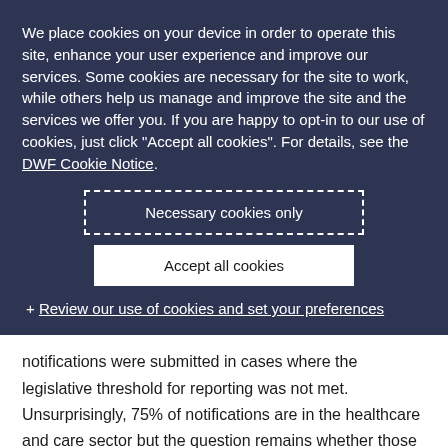We place cookies on your device in order to operate this site, enhance your user experience and improve our services. Some cookies are necessary for the site to work, while others help us manage and improve the site and the services we offer you. If you are happy to opt-in to our use of cookies, just click "Accept all cookies". For details, see the DWF Cookie Notice.
Necessary cookies only
Accept all cookies
+ Review our use of cookies and set your preferences
notifications were submitted in cases where the legislative threshold for reporting was not met. Unsurprisingly, 75% of notifications are in the healthcare and care sector but the question remains whether those reports were as a consequence of a diagnosis